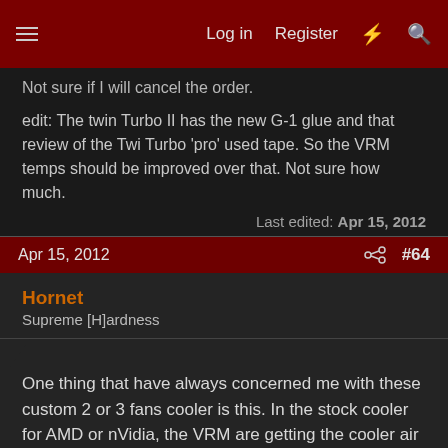Log in  Register  #64
Not sure if I will cancel the order.
edit: The twin Turbo II has the new G-1 glue and that review of the Twi Turbo 'pro' used tape. So the VRM temps should be improved over that. Not sure how much.
Last edited: Apr 15, 2012
Apr 15, 2012  #64
Hornet
Supreme [H]ardness
One thing that have always concerned me with these custom 2 or 3 fans cooler is this. In the stock cooler for AMD or nVidia, the VRM are getting the cooler air directly from the fan as the air passes through the VRM heatsink first before flowing through the GPU heatsink.
But with these custom cooler, all the air goes through the